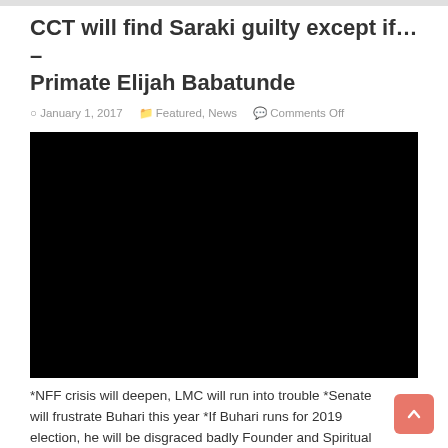CCT will find Saraki guilty except if... – Primate Elijah Babatunde
January 1, 2017   Featured, News   Comments Off
[Figure (photo): Black/blank image placeholder]
*NFF crisis will deepen, LMC will run into trouble *Senate will frustrate Buhari this year *If Buhari runs for 2019 election, he will be disgraced badly Founder and Spiritual Head ...